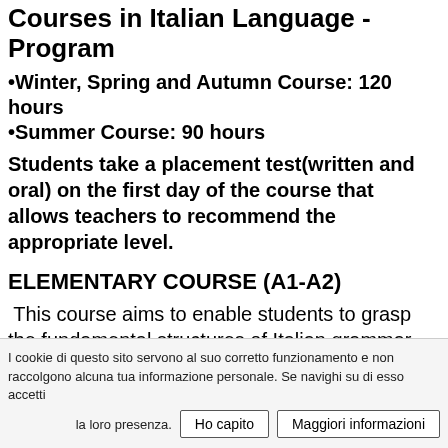Courses in Italian Language - Program
•Winter, Spring and Autumn Course: 120 hours
•Summer Course: 90 hours
Students take a placement test(written and oral) on the first day of the course that allows teachers to recommend the appropriate level.
ELEMENTARY COURSE (A1-A2)
This course aims to enable students to grasp the fundamental structures of Italian grammar and the more basic forms of communication,according to the A1-A2 level of the CEFR. By
I cookie di questo sito servono al suo corretto funzionamento e non raccolgono alcuna tua informazione personale. Se navighi su di esso accetti la loro presenza.